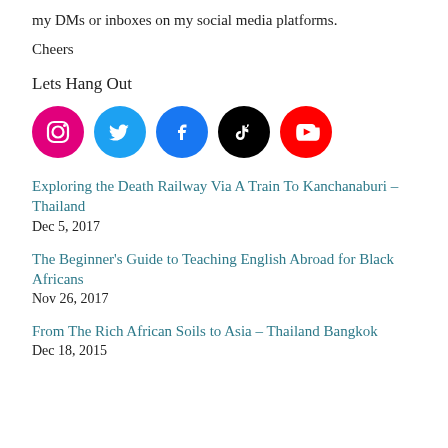my DMs or inboxes on my social media platforms.
Cheers
Lets Hang Out
[Figure (infographic): Five social media platform icons in circles: Instagram (pink/magenta), Twitter (blue), Facebook (blue), TikTok (black), YouTube (red)]
Exploring the Death Railway Via A Train To Kanchanaburi – Thailand
Dec 5, 2017
The Beginner's Guide to Teaching English Abroad for Black Africans
Nov 26, 2017
From The Rich African Soils to Asia – Thailand Bangkok
Dec 18, 2015